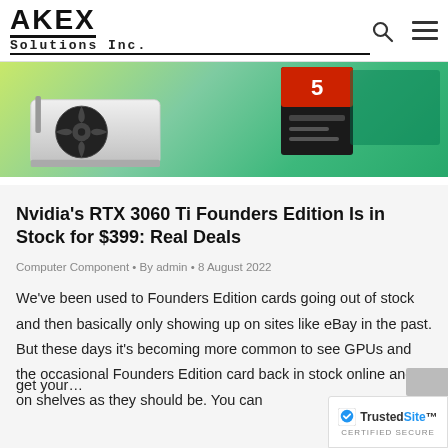AKEX Solutions Inc.
[Figure (photo): Hero banner image showing an Nvidia RTX graphics card and product box on a green gradient background]
Nvidia's RTX 3060 Ti Founders Edition Is in Stock for $399: Real Deals
Computer Component • By admin • 8 August 2022
We've been used to Founders Edition cards going out of stock and then basically only showing up on sites like eBay in the past. But these days it's becoming more common to see GPUs and the occasional Founders Edition card back in stock online and on shelves as they should be. You can get your…